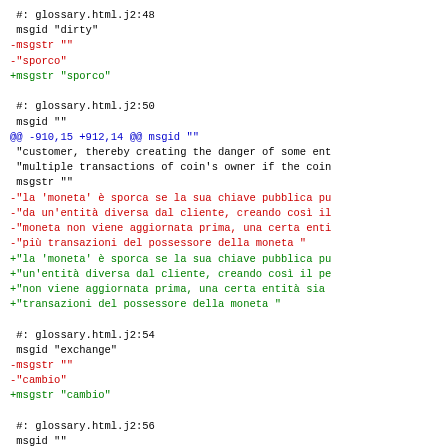#: glossary.html.j2:48
 msgid "dirty"
-msgstr ""
-"sporco"
+msgstr "sporco"

 #: glossary.html.j2:50
 msgid ""
@@ -910,15 +912,14 @@ msgid ""
 "customer, thereby creating the danger of some ent
 "multiple transactions of coin's owner if the coin
 msgstr ""
-"la 'moneta' è sporca se la sua chiave pubblica pu
-"da un'entità diversa dal cliente, creando così il
-"moneta non viene aggiornata prima, una certa enti
-"più transazioni del possessore della moneta "
+"la 'moneta' è sporca se la sua chiave pubblica pu
+"un'entità diversa dal cliente, creando così il pe
+"non viene aggiornata prima, una certa entità sia
+"transazioni del possessore della moneta "

 #: glossary.html.j2:54
 msgid "exchange"
-msgstr ""
-"cambio"
+msgstr "cambio"

 #: glossary.html.j2:56
 msgid ""